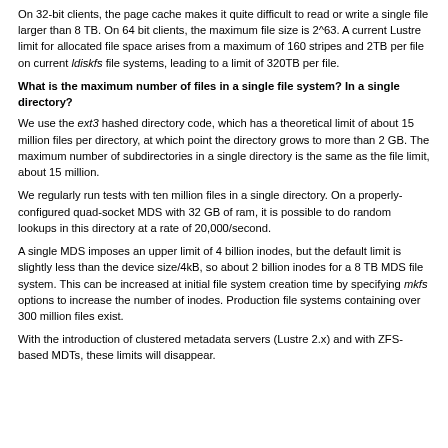On 32-bit clients, the page cache makes it quite difficult to read or write a single file larger than 8 TB. On 64 bit clients, the maximum file size is 2^63. A current Lustre limit for allocated file space arises from a maximum of 160 stripes and 2TB per file on current ldiskfs file systems, leading to a limit of 320TB per file.
What is the maximum number of files in a single file system? In a single directory?
We use the ext3 hashed directory code, which has a theoretical limit of about 15 million files per directory, at which point the directory grows to more than 2 GB. The maximum number of subdirectories in a single directory is the same as the file limit, about 15 million.
We regularly run tests with ten million files in a single directory. On a properly-configured quad-socket MDS with 32 GB of ram, it is possible to do random lookups in this directory at a rate of 20,000/second.
A single MDS imposes an upper limit of 4 billion inodes, but the default limit is slightly less than the device size/4kB, so about 2 billion inodes for a 8 TB MDS file system. This can be increased at initial file system creation time by specifying mkfs options to increase the number of inodes. Production file systems containing over 300 million files exist.
With the introduction of clustered metadata servers (Lustre 2.x) and with ZFS-based MDTs, these limits will disappear.